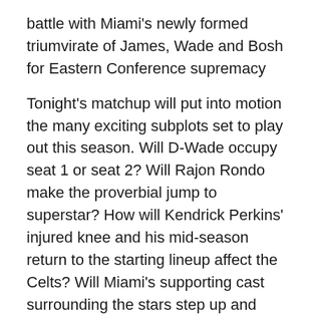battle with Miami's newly formed triumvirate of James, Wade and Bosh for Eastern Conference supremacy
Tonight's matchup will put into motion the many exciting subplots set to play out this season. Will D-Wade occupy seat 1 or seat 2? Will Rajon Rondo make the proverbial jump to superstar? How will Kendrick Perkins' injured knee and his mid-season return to the starting lineup affect the Celts? Will Miami's supporting cast surrounding the stars step up and deliver? Will Coach Doc Rivers be happy with his big decision to come back to the Boston bench after the heartbreaking Game 7 loss in last year's Finals to the Los Angeles Lakers. And how will second-year head coach Erik Spoelstra lead his new awesome threesome?
Did I mention LeBron James joining Dwyane Wade and the Heat?